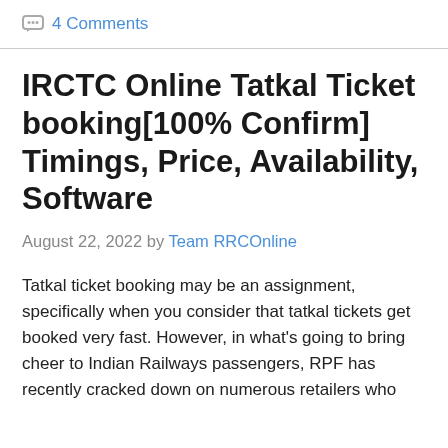4 Comments
IRCTC Online Tatkal Ticket booking[100% Confirm] Timings, Price, Availability, Software
August 22, 2022 by Team RRCOnline
Tatkal ticket booking may be an assignment, specifically when you consider that tatkal tickets get booked very fast. However, in what’s going to bring cheer to Indian Railways passengers, RPF has recently cracked down on numerous retailers who